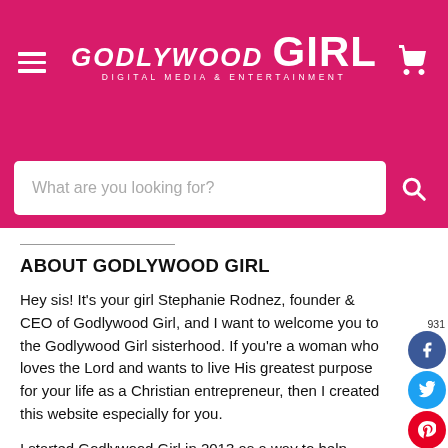[Figure (logo): Godlywood Girl Digital Media & Entertainment logo on pink/magenta background with hamburger menu and cart icon]
[Figure (screenshot): Search bar with placeholder text 'What are you looking for?' on pink background]
ABOUT GODLYWOOD GIRL
Hey sis! It's your girl Stephanie Rodnez, founder & CEO of Godlywood Girl, and I want to welcome you to the Godlywood Girl sisterhood. If you're a woman who loves the Lord and wants to live His greatest purpose for your life as a Christian entrepreneur, then I created this website especially for you.
I started Godlywood Girl in 2013 as a way to help myself heal from the heartache and trauma of failing at my first business. You see, I was a filmmaker creating movies for Christian youth